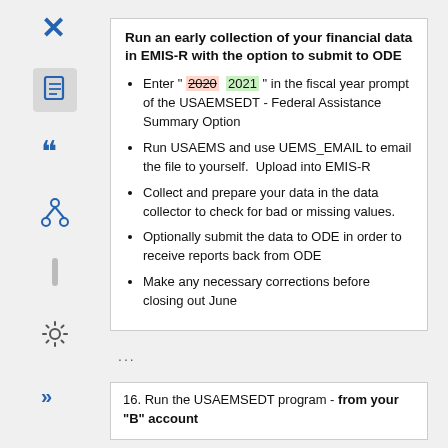Run an early collection of your financial data in EMIS-R with the option to submit to ODE
Enter " 2020  2021 " in the fiscal year prompt of the USAEMSEDT - Federal Assistance Summary Option
Run USAEMS and use UEMS_EMAIL to email the file to yourself.  Upload into EMIS-R
Collect and prepare your data in the data collector to check for bad or missing values.
Optionally submit the data to ODE in order to receive reports back from ODE
Make any necessary corrections before closing out June
...
16. Run the USAEMSEDT program - from your "B" account